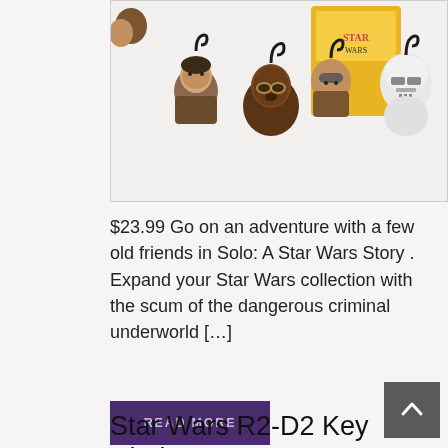[Figure (photo): Product photo showing Star Wars Solo movie character clip-on plush figures including Han Solo, Chewbacca, and a Stormtrooper, with packaging box in background]
$23.99 Go on an adventure with a few old friends in Solo: A Star Wars Story . Expand your Star Wars collection with the scum of the dangerous criminal underworld […]
READ MORE
Star Wars R2-D2 Key Chain